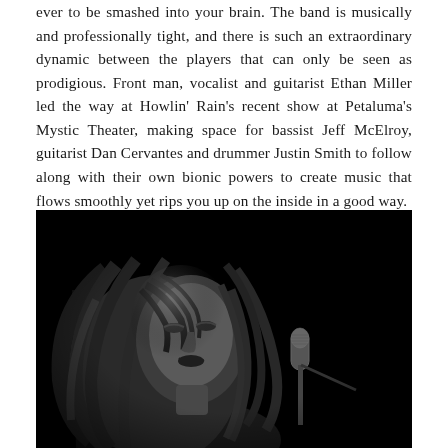ever to be smashed into your brain. The band is musically and professionally tight, and there is such an extraordinary dynamic between the players that can only be seen as prodigious. Front man, vocalist and guitarist Ethan Miller led the way at Howlin' Rain's recent show at Petaluma's Mystic Theater, making space for bassist Jeff McElroy, guitarist Dan Cervantes and drummer Justin Smith to follow along with their own bionic powers to create music that flows smoothly yet rips you up on the inside in a good way.
[Figure (photo): Black and white photograph of a male musician with long, wild hair, head tilted back, performing at a microphone. The image is dark with the subject lit against a black background.]